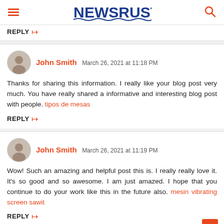NEWSRUST
REPLY
John Smith  March 26, 2021 at 11:18 PM
Thanks for sharing this information. I really like your blog post very much. You have really shared a informative and interesting blog post with people. tipos de mesas
REPLY
John Smith  March 26, 2021 at 11:19 PM
Wow! Such an amazing and helpful post this is. I really really love it. It's so good and so awesome. I am just amazed. I hope that you continue to do your work like this in the future also. mesin vibrating screen sawit
REPLY